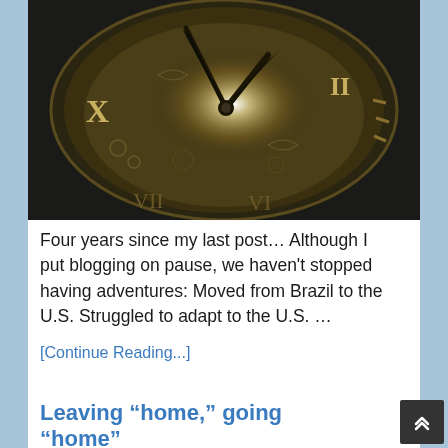[Figure (photo): Close-up photograph of an ornate antique clock face with Roman numerals, decorative gold metalwork, clock hands, and a bright light glowing from the center.]
Four years since my last post… Although I put blogging on pause, we haven't stopped having adventures: Moved from Brazil to the U.S. Struggled to adapt to the U.S. …
[Continue Reading...]
Leaving “home,” going “home”